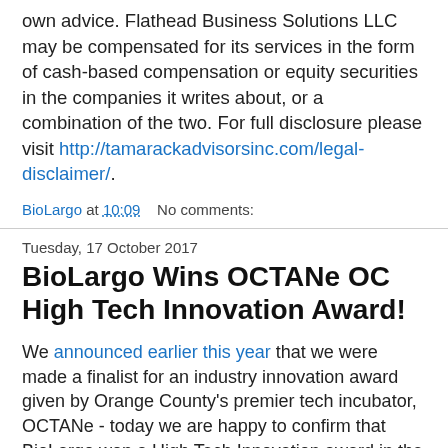own advice. Flathead Business Solutions LLC may be compensated for its services in the form of cash-based compensation or equity securities in the companies it writes about, or a combination of the two. For full disclosure please visit http://tamarackadvisorsinc.com/legal-disclaimer/.
BioLargo at 10:09    No comments:
Tuesday, 17 October 2017
BioLargo Wins OCTANe OC High Tech Innovation Award!
We announced earlier this year that we were made a finalist for an industry innovation award given by Orange County's premier tech incubator, OCTANe - today we are happy to confirm that BioLargo won a High Tech Innovation award in the category of "Best: Horizontal Disruption"! This is a great honor for our company, and we think it heralds significant growth and adoption of our various innovative technology